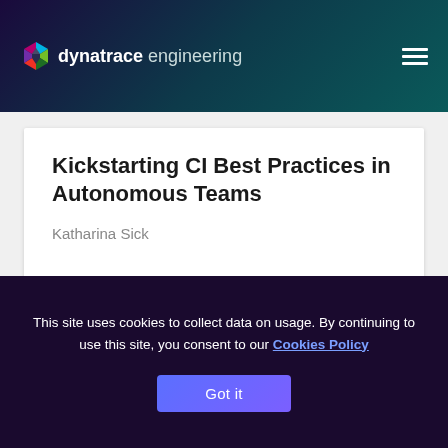dynatrace engineering
Kickstarting CI Best Practices in Autonomous Teams
Katharina Sick
read full article »
This site uses cookies to collect data on usage. By continuing to use this site, you consent to our Cookies Policy
Got it